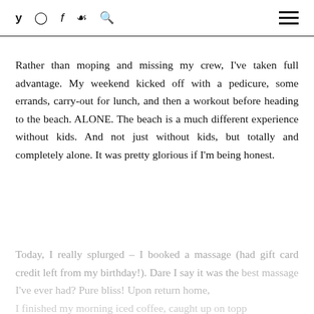Social icons: Twitter, Instagram, Facebook, Pinterest, Search | Hamburger menu
Rather than moping and missing my crew, I've taken full advantage. My weekend kicked off with a pedicure, some errands, carry-out for lunch, and then a workout before heading to the beach. ALONE. The beach is a much different experience without kids. And not just without kids, but totally and completely alone. It was pretty glorious if I'm being honest.
Today, I really splurged – I booked a massage (had gift card credit left from my birthday!). Dare I say it was the best massage I've ever had? Pure bliss! Upon return home, I finished my morning iced coffee, caught up on topp…